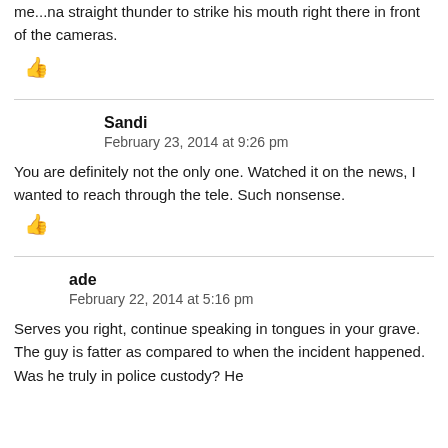me...na straight thunder to strike his mouth right there in front of the cameras.
👍 (thumbs up icon)
Sandi
February 23, 2014 at 9:26 pm
You are definitely not the only one. Watched it on the news, I wanted to reach through the tele. Such nonsense.
👍 (thumbs up icon)
ade
February 22, 2014 at 5:16 pm
Serves you right, continue speaking in tongues in your grave. The guy is fatter as compared to when the incident happened. Was he truly in police custody? He